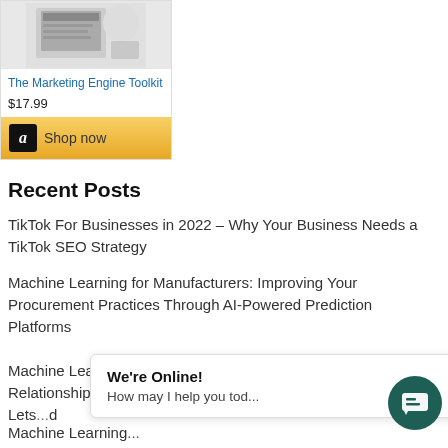[Figure (screenshot): Product image thumbnail for The Marketing Engine Toolkit book on Amazon]
The Marketing Engine Toolkit
$17.99
Shop now
Recent Posts
TikTok For Businesses in 2022 – Why Your Business Needs a TikTok SEO Strategy
Machine Learning for Manufacturers: Improving Your Procurement Practices Through AI-Powered Prediction Platforms
Machine Learning for Manufacturers: Supplier Relationship Management With Artificial Intelligence Lets...
Machine Learning...
We're Online!
How may I help you tod...